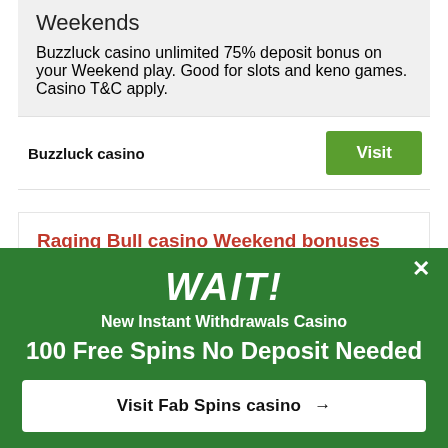Weekends
Buzzluck casino unlimited 75% deposit bonus on your Weekend play. Good for slots and keno games. Casino T&C apply.
Buzzluck casino
Visit
Raging Bull casino Weekend bonuses and free spins
WAIT!
New Instant Withdrawals Casino
100 Free Spins No Deposit Needed
Visit Fab Spins casino →